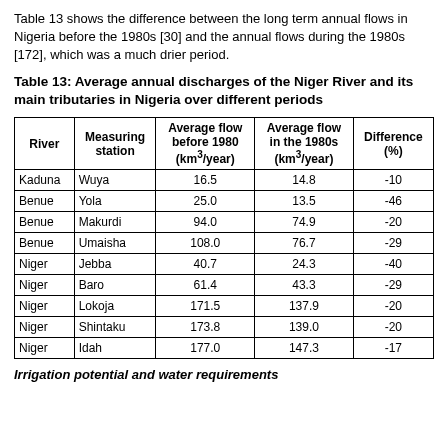Table 13 shows the difference between the long term annual flows in Nigeria before the 1980s [30] and the annual flows during the 1980s [172], which was a much drier period.
Table 13: Average annual discharges of the Niger River and its main tributaries in Nigeria over different periods
| River | Measuring station | Average flow before 1980 (km3/year) | Average flow in the 1980s (km3/year) | Difference (%) |
| --- | --- | --- | --- | --- |
| Kaduna | Wuya | 16.5 | 14.8 | -10 |
| Benue | Yola | 25.0 | 13.5 | -46 |
| Benue | Makurdi | 94.0 | 74.9 | -20 |
| Benue | Umaisha | 108.0 | 76.7 | -29 |
| Niger | Jebba | 40.7 | 24.3 | -40 |
| Niger | Baro | 61.4 | 43.3 | -29 |
| Niger | Lokoja | 171.5 | 137.9 | -20 |
| Niger | Shintaku | 173.8 | 139.0 | -20 |
| Niger | Idah | 177.0 | 147.3 | -17 |
Irrigation potential and water requirements